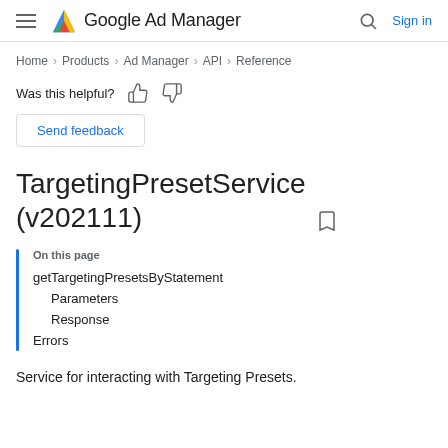Google Ad Manager
Home > Products > Ad Manager > API > Reference
Was this helpful?
Send feedback
TargetingPresetService (v202111)
On this page
getTargetingPresetsByStatement
Parameters
Response
Errors
Service for interacting with Targeting Presets.